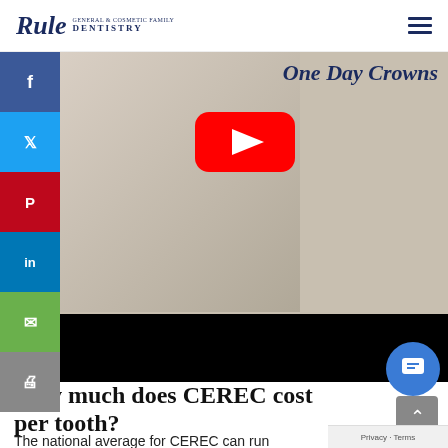Rule Dentistry
[Figure (screenshot): Video thumbnail showing a woman with short blonde hair touching her chin thoughtfully, with a YouTube play button overlay and a partially visible cursive title 'One Day Crowns']
How much does CEREC cost per tooth?
The national average for CEREC can run